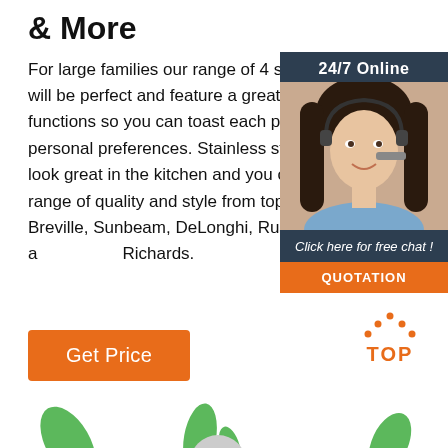& More
For large families our range of 4 slice toasters will be perfect and feature a great number of functions so you can toast each piece to your personal preferences. Stainless steel toasters look great in the kitchen and you can buy a range of quality and style from top brands like Breville, Sunbeam, DeLonghi, Russell Hobbs and Morphy Richards.
[Figure (photo): Chat widget with 24/7 Online header, photo of a woman with headset, 'Click here for free chat!' text, and QUOTATION button]
[Figure (other): Get Price orange button]
[Figure (other): TOP button with orange dots above and orange text]
[Figure (illustration): Green leaves decorative elements at the bottom of the page]